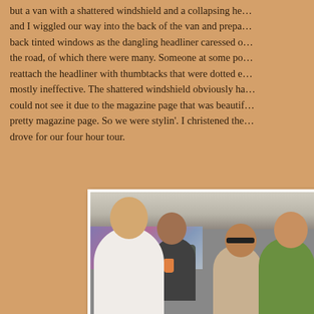but a van with a shattered windshield and a collapsing headliner. and I wiggled our way into the back of the van and prepared for the ride staring out the back tinted windows as the dangling headliner caressed our heads on each bump in the road, of which there were many. Someone at some point had tried to reattach the headliner with thumbtacks that were dotted everywhere but were mostly ineffective. The shattered windshield obviously had a crack but we could not see it due to the magazine page that was beautifully taped to a pretty magazine page. So we were stylin'. I christened the van and we drove for our four hour tour.
[Figure (photo): Four women sitting inside a van, smiling at the camera. The woman in the foreground wears a white tank top. The interior of the van is visible including the ceiling/headliner. One woman is wearing sunglasses.]